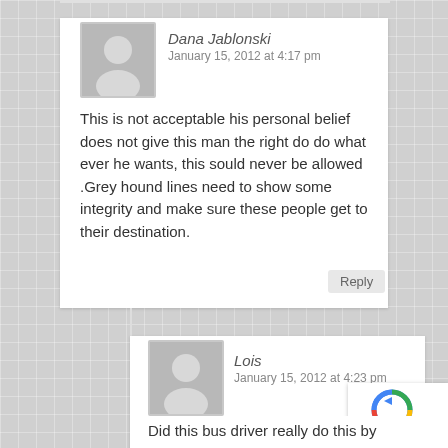Dana Jablonski
January 15, 2012 at 4:17 pm
This is not acceptable his personal belief does not give this man the right do do what ever he wants, this sould never be allowed .Grey hound lines need to show some integrity and make sure these people get to their destination.
Lois
January 15, 2012 at 4:23 pm
Did this bus driver really do this by himself?
merridee
January 15, 2012 at 5:22 pm